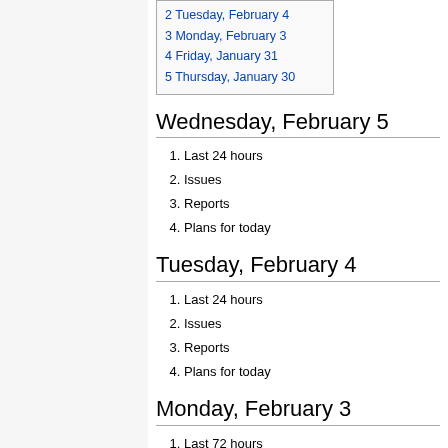2 Tuesday, February 4
3 Monday, February 3
4 Friday, January 31
5 Thursday, January 30
Wednesday, February 5
1. Last 24 hours
2. Issues
3. Reports
4. Plans for today
Tuesday, February 4
1. Last 24 hours
2. Issues
3. Reports
4. Plans for today
Monday, February 3
1. Last 72 hours
No beam since 4pm Friday due to lost vacuum in Hall C transport [1]